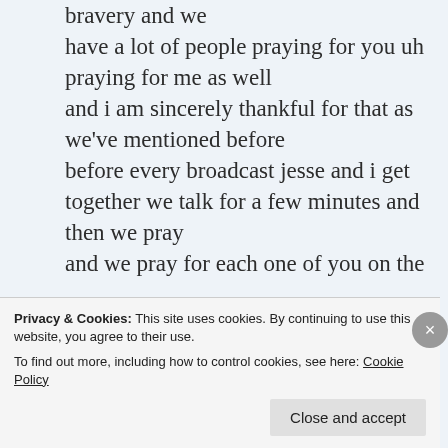bravery and we have a lot of people praying for you uh praying for me as well and i am sincerely thankful for that as we've mentioned before before every broadcast jesse and i get together we talk for a few minutes and then we pray and we pray for each one of you on the other side of this screen to paraphrase a guy who i really love just came to mind i didn't do that on purpose but i one of my sources that i watch a lot
Privacy & Cookies: This site uses cookies. By continuing to use this website, you agree to their use.
To find out more, including how to control cookies, see here: Cookie Policy